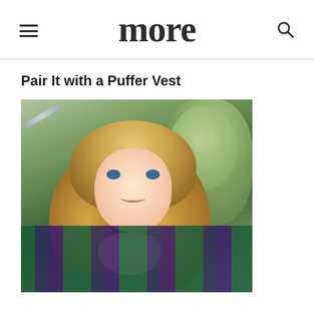more
Pair It with a Puffer Vest
[Figure (photo): Young woman with long blonde wavy hair looking upward and smiling, resting her chin on her hand, wearing a plaid flannel shirt with teal/navy/purple pattern, with green trees visible in the background.]